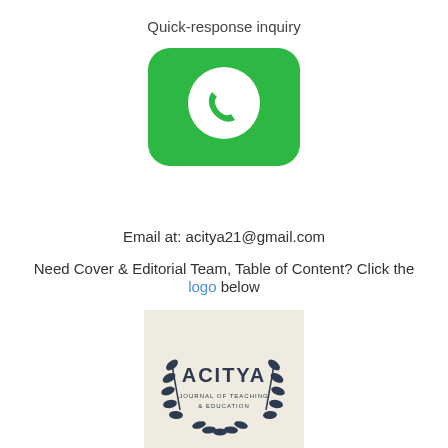Quick-response inquiry
[Figure (logo): WhatsApp logo icon — green rounded rectangle background with white phone handset inside a white speech bubble circle]
Email at: acitya21@gmail.com
Need Cover & Editorial Team, Table of Content? Click the logo below
[Figure (logo): ACITYA Journal of Teaching & Education logo — beige/cream background with dark navy laurel wreath surrounding the text ACITYA and JOURNAL OF TEACHING & EDUCATION]